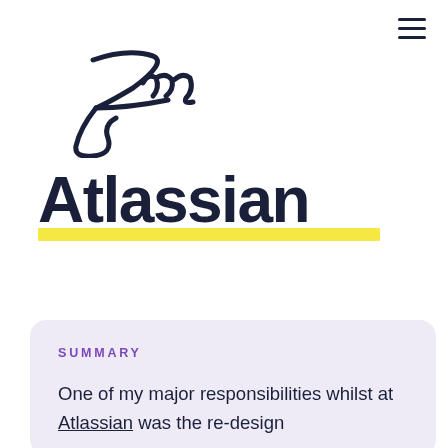[Figure (logo): Handwritten cursive logo spelling 'Zuzz' in dark navy ink with a looping script style]
[Figure (other): Hamburger menu icon with three horizontal lines in top right corner]
Atlassian
SUMMARY
One of my major responsibilities whilst at Atlassian was the re-design